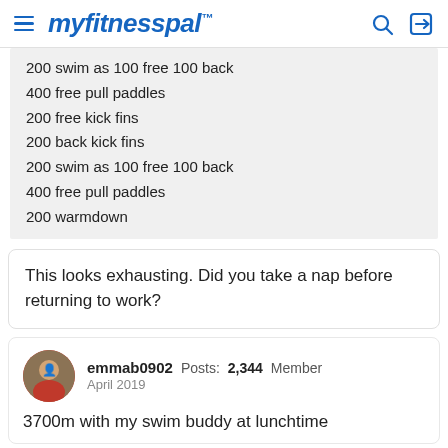myfitnesspal
200 swim as 100 free 100 back
400 free pull paddles
200 free kick fins
200 back kick fins
200 swim as 100 free 100 back
400 free pull paddles
200 warmdown
This looks exhausting. Did you take a nap before returning to work?
emmab0902  Posts: 2,344  Member  April 2019
3700m with my swim buddy at lunchtime